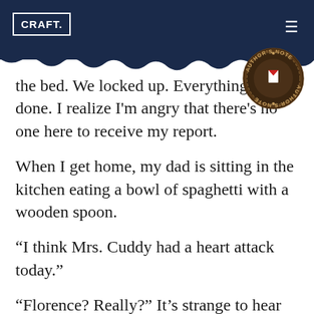CRAFT.
[Figure (illustration): Author's Note badge/seal stamp, circular, dark brown, with text 'AUTHOR'S NOTE' around edge and a bookmark icon in center, text appears mirrored/upside down at bottom]
the bed. We locked up. Everything is done. I realize I'm angry that there's no one here to receive my report.
When I get home, my dad is sitting in the kitchen eating a bowl of spaghetti with a wooden spoon.
“I think Mrs. Cuddy had a heart attack today.”
“Florence? Really?” It’s strange to hear him say her name.
“She was passed out on her desk when I went